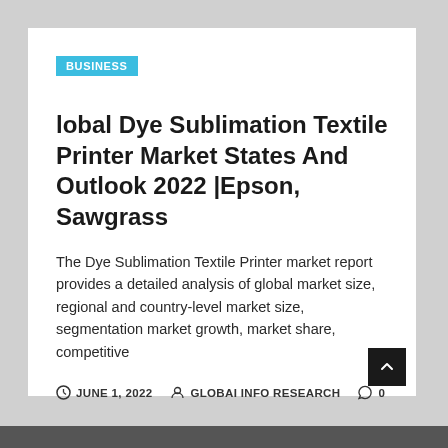BUSINESS
lobal Dye Sublimation Textile Printer Market States And Outlook 2022 |Epson, Sawgrass
The Dye Sublimation Textile Printer market report provides a detailed analysis of global market size, regional and country-level market size, segmentation market growth, market share, competitive
JUNE 1, 2022   GLOBAI INFO RESEARCH   0